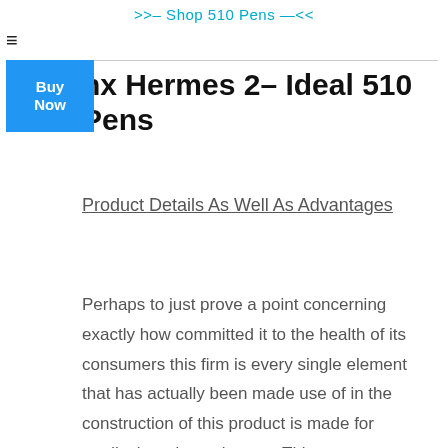>>– Shop 510 Pens —<<
nx Hermes 2– Ideal 510 Pens
Product Details As Well As Advantages
Perhaps to just prove a point concerning exactly how committed it to the health of its consumers this firm is every single element that has actually been made use of in the construction of this product is made for medical grade equipment. This